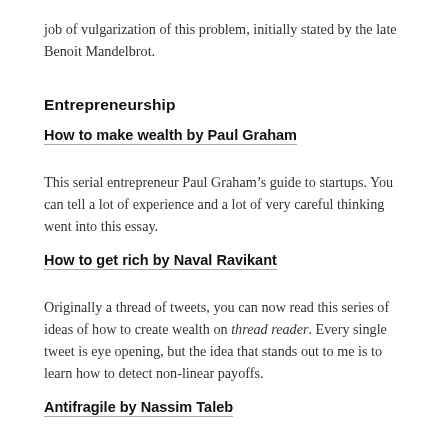job of vulgarization of this problem, initially stated by the late Benoit Mandelbrot.
Entrepreneurship
How to make wealth by Paul Graham
This serial entrepreneur Paul Graham’s guide to startups. You can tell a lot of experience and a lot of very careful thinking went into this essay.
How to get rich by Naval Ravikant
Originally a thread of tweets, you can now read this series of ideas of how to create wealth on thread reader. Every single tweet is eye opening, but the idea that stands out to me is to learn how to detect non-linear payoffs.
Antifragile by Nassim Taleb